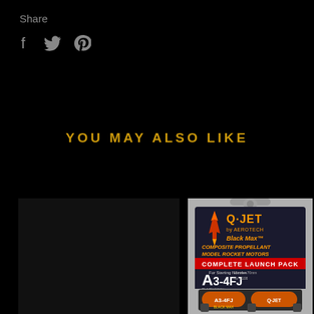Share
[Figure (infographic): Social sharing icons: Facebook (f), Twitter (bird), Pinterest (p)]
YOU MAY ALSO LIKE
[Figure (photo): Dark product image placeholder on left]
[Figure (photo): Q-JET Black Max Composite Propellant Model Rocket Motors Complete Launch Pack A3-4FJ product package image]